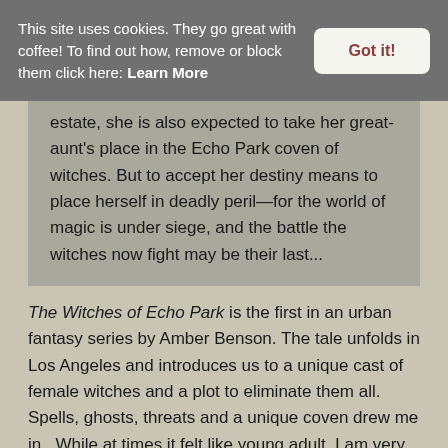This site uses cookies. They go great with coffee! To find out how, remove or block them click here: Learn More
Got it!
estate, she is also expected to take her great-aunt's place in the Echo Park coven of witches. But to accept her destiny means to place herself in deadly peril—for the world of magic is under siege, and the battle the witches now fight may be their last...
The Witches of Echo Park is the first in an urban fantasy series by Amber Benson. The tale unfolds in Los Angeles and introduces us to a unique cast of female witches and a plot to eliminate them all. Spells, ghosts, threats and a unique coven drew me in.  While at times it felt like young adult, I am very curious to see how it unfolds.